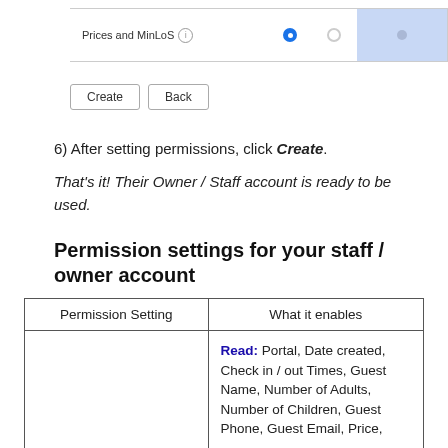[Figure (screenshot): UI row showing 'Prices and MinLoS' label with info icon, a filled blue radio button, an empty radio button, and a blue shaded cell with a dot on the right end.]
[Figure (screenshot): Two buttons: 'Create' and 'Back']
6) After setting permissions, click Create.
That's it! Their Owner / Staff account is ready to be used.
Permission settings for your staff / owner account
| Permission Setting | What it enables |
| --- | --- |
|  | Read: Portal, Date created, Check in / out Times, Guest Name, Number of Adults, Number of Children, Guest Phone, Guest Email, Price, |